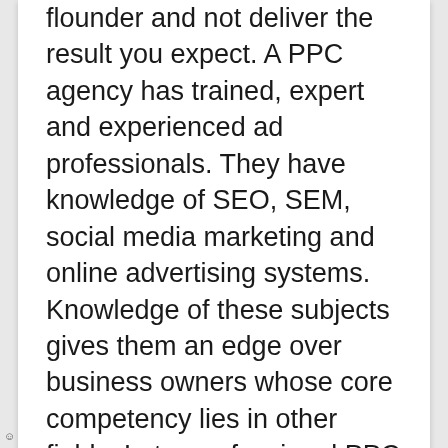flounder and not deliver the result you expect. A PPC agency has trained, expert and experienced ad professionals. They have knowledge of SEO, SEM, social media marketing and online advertising systems. Knowledge of these subjects gives them an edge over business owners whose core competency lies in other fields. Let a professional PPC expert handle your PPC campaign. You are assured of professional handling of your ad campaign and good return on your ad investment.
☺